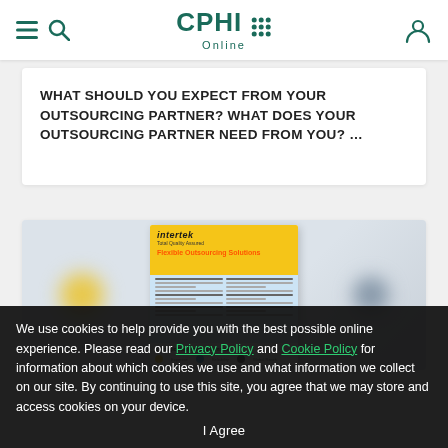CPHI Online
WHAT SHOULD YOU EXPECT FROM YOUR OUTSOURCING PARTNER? WHAT DOES YOUR OUTSOURCING PARTNER NEED FROM YOU? ...
[Figure (photo): Intertek Flexible Outsourcing Solutions brochure thumbnail displayed against a blurred light blue-grey background with yellow and grey blurred blobs on either side]
We use cookies to help provide you with the best possible online experience. Please read our Privacy Policy and Cookie Policy for information about which cookies we use and what information we collect on our site. By continuing to use this site, you agree that we may store and access cookies on your device.
I Agree